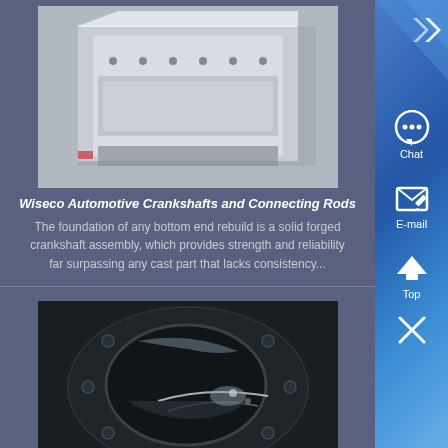[Figure (photo): Photo of a silver/aluminum forged crankshaft assembly component, showing metallic box-like structure with rivets or bolts]
Wiseco Automotive Crankshafts and Connecting Rods
The foundation of any bottom end rebuild is a solid forged crankshaft assembly, which provides strength and reliability far surpassing any cast part that lacks consistency...
[Figure (photo): Close-up photo of a dark engine part, possibly a crankshaft journal or bearing surface, with visible metal sheen and circular opening]
China Engine Parts manufacturer, Crankshaft, Filters ,
China Engine Parts supplier, Crankshaft, Filters Manufacturers/Suppliers - Beijing Xinde Youye Mechanical and Electrical Equipment Co, Ltd...